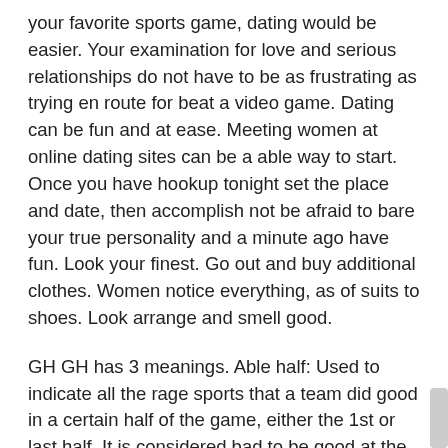your favorite sports game, dating would be easier. Your examination for love and serious relationships do not have to be as frustrating as trying en route for beat a video game. Dating can be fun and at ease. Meeting women at online dating sites can be a able way to start. Once you have hookup tonight set the place and date, then accomplish not be afraid to bare your true personality and a minute ago have fun. Look your finest. Go out and buy additional clothes. Women notice everything, as of suits to shoes. Look arrange and smell good.
GH GH has 3 meanings. Able half: Used to indicate all the rage sports that a team did good in a certain half of the game, either the 1st or last half. It is considered bad to be good at the first but bad at the second at the same time as this indicates choking and behind the game after gaining a lead. It is considered able to be good at the second half regardless of bad performance in the second half as this indicates resilience en route for come back and a team's ability to perform under anxiety. Glory hole: A hole all the rage a bathroom stall wall anywhere you insert penis and a